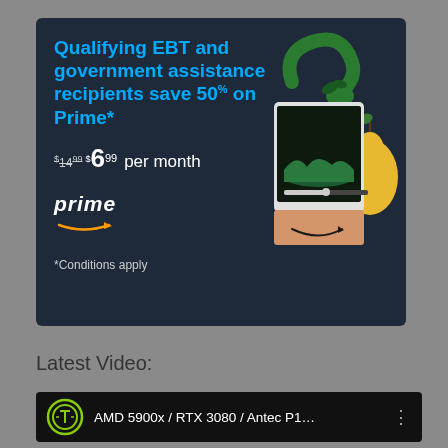[Figure (infographic): Amazon Prime ad banner on dark navy background. Text: 'Qualifying EBT and government assistance recipients save 50% on Prime*', '$14.99 $6.99 per month', Amazon Prime logo with smile arrow, '*Conditions apply'. Right side has illustration of cartoon sea creature (Loch Ness style) with a tablet/Kindle on an Amazon box, and a yellow pear character.]
Latest Video:
[Figure (screenshot): Video thumbnail bar on black background. Shows a green circular logo icon on left, text 'AMD 5900x / RTX 3080 / Antec P1...' in white, and a three-dot menu icon on right.]